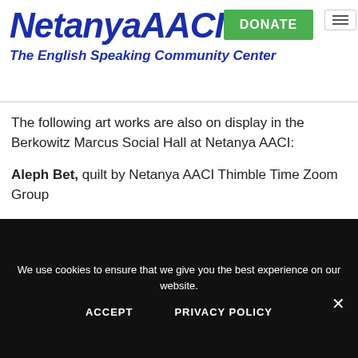NetanyaAACI – The English Speaking Community Center
The following art works are also on display in the Berkowitz Marcus Social Hall at Netanya AACI:
Aleph Bet, quilt by Netanya AACI Thimble Time Zoom Group
America, quilt by Eileen Goldblatt
We use cookies to ensure that we give you the best experience on our website. ACCEPT  PRIVACY POLICY